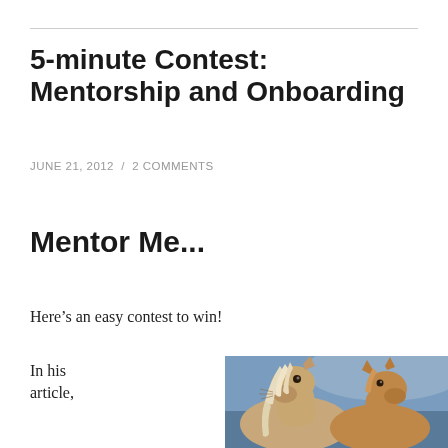5-minute Contest: Mentorship and Onboarding
JUNE 21, 2012  /  2 COMMENTS
Mentor Me...
Here’s an easy contest to win!
In his article,
[Figure (photo): Two horses close together, one light-colored with white/blonde mane and one younger tan/brown horse, photographed against a blue-grey background]